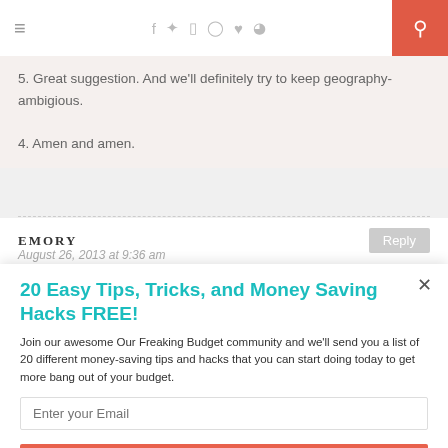≡  f  ✦  ☷  ✉  ♥  ◌  🔍
5. Great suggestion. And we'll definitely try to keep geography-ambigious.
4. Amen and amen.
EMORY
Reply
August 26, 2013 at 9:36 am
20 Easy Tips, Tricks, and Money Saving Hacks FREE!
Join our awesome Our Freaking Budget community and we'll send you a list of 20 different money-saving tips and hacks that you can start doing today to get more bang out of your budget.
Enter your Email
Sign Me Up!